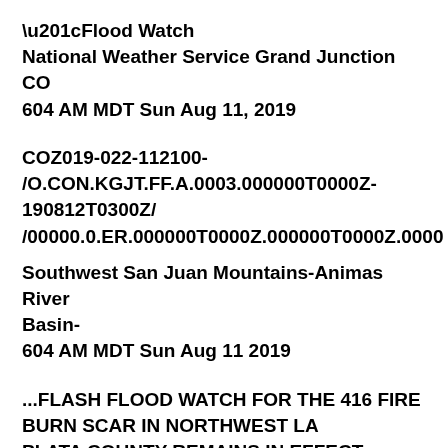“Flood Watch
National Weather Service Grand Junction CO
604 AM MDT Sun Aug 11, 2019
COZ019-022-112100-
/O.CON.KGJT.FF.A.0003.000000T0000Z-190812T0300Z/
/00000.0.ER.000000T0000Z.000000T0000Z.0000
Southwest San Juan Mountains-Animas River Basin-
604 AM MDT Sun Aug 11 2019
...FLASH FLOOD WATCH FOR THE 416 FIRE BURN SCAR IN NORTHWEST LA PLATA COUNTY REMAINS IN EFFECT THROUGH